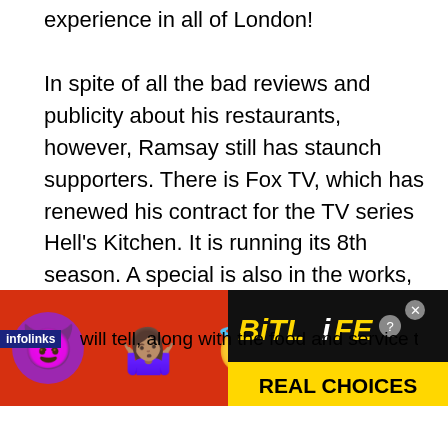experience in all of London!
In spite of all the bad reviews and publicity about his restaurants, however, Ramsay still has staunch supporters. There is Fox TV, which has renewed his contract for the TV series Hell’s Kitchen. It is running its 8th season. A special is also in the works, titled Gordon Ramsay: Cookalong Live. The chef also seems undaunted by the setbacks as he is opening restaurants in London and Italy.
infolinks   will tell, along with the food and service that
[Figure (infographic): BitLife: Real Choices advertisement banner with emoji characters (devil emoji, woman shrugging emoji, angel emoji) on a red background, with BitLife logo and REAL CHOICES text on black background on the right side.]